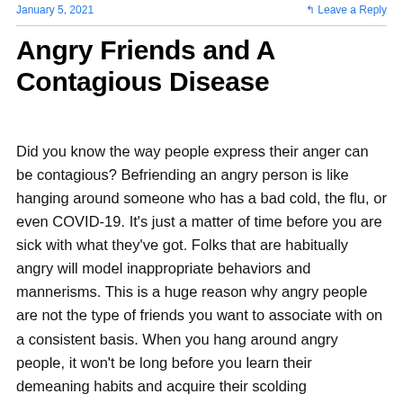January 5, 2021    Leave a Reply
Angry Friends and A Contagious Disease
Did you know the way people express their anger can be contagious? Befriending an angry person is like hanging around someone who has a bad cold, the flu, or even COVID-19. It's just a matter of time before you are sick with what they've got. Folks that are habitually angry will model inappropriate behaviors and mannerisms. This is a huge reason why angry people are not the type of friends you want to associate with on a consistent basis. When you hang around angry people, it won't be long before you learn their demeaning habits and acquire their scolding temperament. Before you realize it, you will say things and